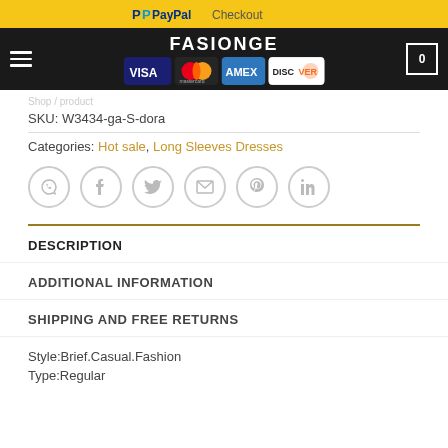[Figure (screenshot): PayPal Checkout yellow banner at top of e-commerce page]
[Figure (screenshot): Black navigation bar with hamburger menu, FASIONGE store name overlay, payment card icons (Visa, Mastercard, AMEX, Discover), and cart with 0]
SKU: W3434-ga-S-dora
Categories: Hot sale, Long Sleeves Dresses
[Figure (infographic): Row of social share icon circles: WhatsApp, Facebook, Twitter, Email, Pinterest, LinkedIn]
DESCRIPTION
ADDITIONAL INFORMATION
SHIPPING AND FREE RETURNS
Style:Brief.Casual.Fashion
Type:Regular